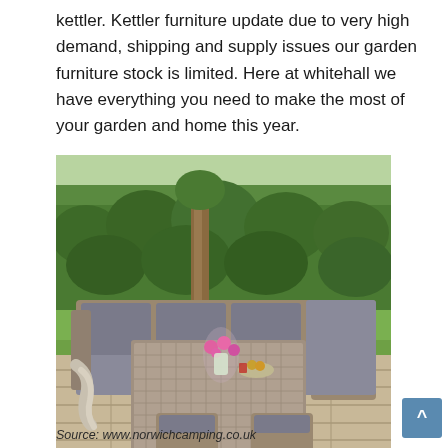kettler. Kettler furniture update due to very high demand, shipping and supply issues our garden furniture stock is limited. Here at whitehall we have everything you need to make the most of your garden and home this year.
[Figure (photo): Outdoor rattan garden furniture set with L-shaped sofa, dining table, and stools with grey cushions, set on a stone patio with green garden hedge background]
Source: www.norwichcamping.co.uk